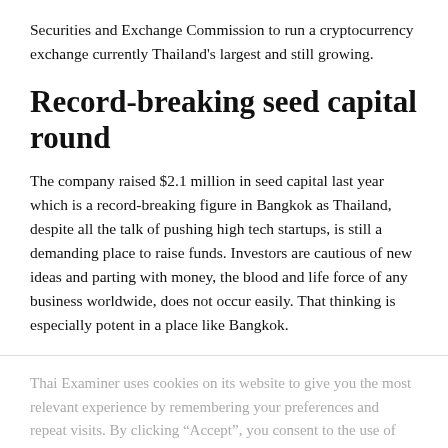Securities and Exchange Commission to run a cryptocurrency exchange currently Thailand’s largest and still growing.
Record-breaking seed capital round
The company raised $2.1 million in seed capital last year which is a record-breaking figure in Bangkok as Thailand, despite all the talk of pushing high tech startups, is still a demanding place to raise funds. Investors are cautious of new ideas and parting with money, the blood and life force of any business worldwide, does not occur easily. That thinking is especially potent in a place like Bangkok.
Thai Examiner uses cookies on its website to give you the most relevant experience by remembering your preferences and repeat visits. By clicking “Accept”, you consent to the use of ALL the cookies.
Cookie settings
ACCEPT